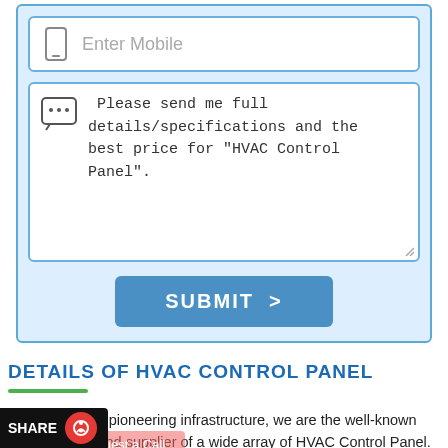[Figure (screenshot): Mobile number input field with phone icon and placeholder text 'Enter Mobile']
Please send me full details/specifications and the best price for "HVAC Control Panel".
[Figure (screenshot): SUBMIT button with right arrow chevron in blue]
DETAILS OF HVAC CONTROL PANEL
Outfitted with a pioneering infrastructure, we are the well-known manufacturer and supplier of a wide array of HVAC Control Panel. te this HVAC Control Panel using the premium quality direction of our adroit professionals. Furthermore, we